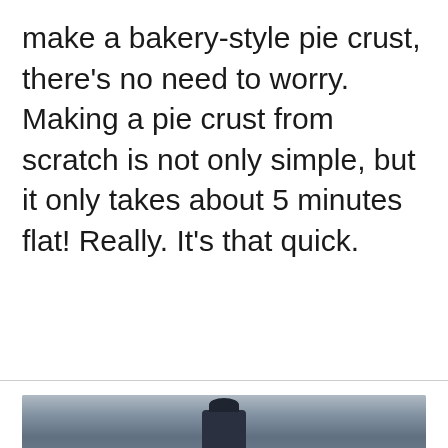make a bakery-style pie crust, there's no need to worry. Making a pie crust from scratch is not only simple, but it only takes about 5 minutes flat! Really. It's that quick.
[Figure (photo): Partial photo of a person standing, visible from roughly waist down, in front of a dark blue draped fabric background. The image is cropped at the bottom of the page.]